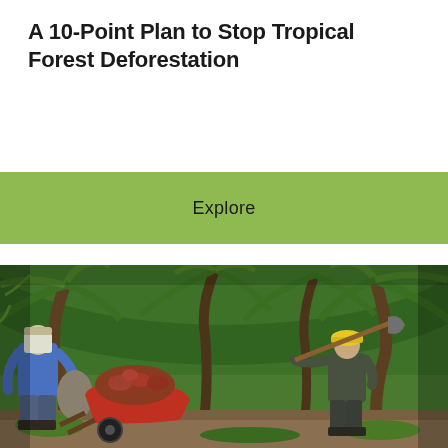A 10-Point Plan to Stop Tropical Forest Deforestation
Explore
[Figure (photo): Two workers in a palm oil plantation. Left worker wears a blue jacket and head covering, loading palm fruit into a red wheelbarrow. Right worker wears a yellow hard hat and holds a long-handled tool. Lush green palm fronds fill the background canopy.]